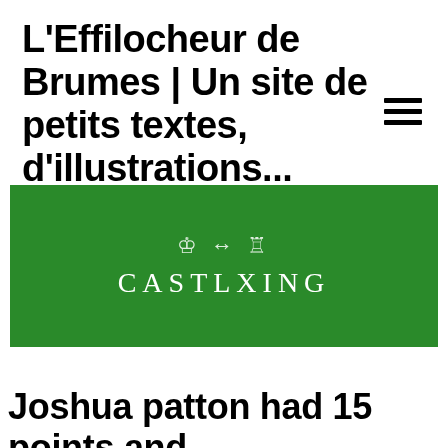L'Effilocheur de Brumes | Un site de petits textes, d'illustrations...
[Figure (logo): Green banner with chess king and rook icons with arrow between them and text CASTLXING in serif font]
Joshua patton had 15 points and